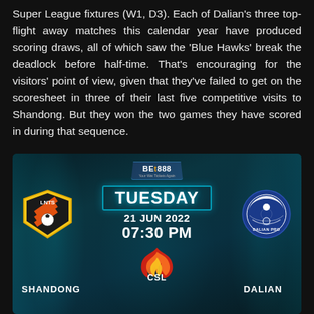Super League fixtures (W1, D3). Each of Dalian's three top-flight away matches this calendar year have produced scoring draws, all of which saw the 'Blue Hawks' break the deadlock before half-time. That's encouraging for the visitors' point of view, given that they've failed to get on the scoresheet in three of their last five competitive visits to Shandong. But they won the two games they have scored in during that sequence.
[Figure (infographic): Match preview graphic for Shandong vs Dalian Pro, Tuesday 21 Jun 2022, 07:30 PM, with Bet888 branding, LNTS and Dalian Pro logos, CSL logo]